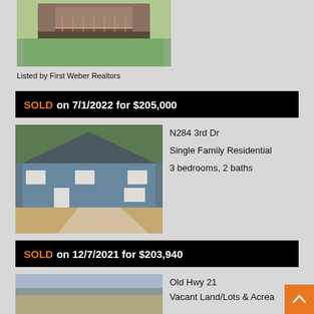[Figure (photo): Exterior photo of a house with a deck, surrounded by trees and lawn]
Listed by First Weber Realtors
SOLD on 7/1/2022 for $205,000
[Figure (photo): Exterior photo of a blue single-family house with gravel driveway]
N284 3rd Dr
Single Family Residential
3 bedrooms, 2 baths
Listed by Shorewest Realtors, Inc.
SOLD on 12/7/2021 for $203,940
[Figure (photo): Aerial or landscape photo of vacant land]
Old Hwy 21
Vacant Land/Lots & Acrea